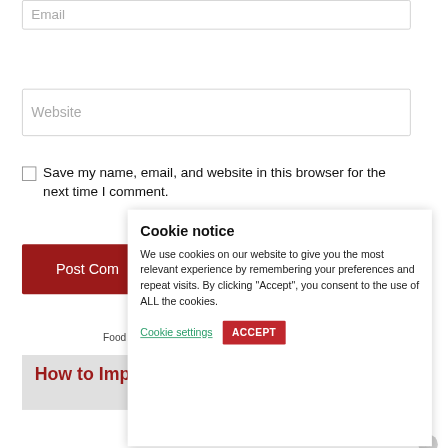[Figure (screenshot): Email input field placeholder at top of page]
[Figure (screenshot): Website input field placeholder]
Save my name, email, and website in this browser for the next time I comment.
[Figure (screenshot): Post Comment button (dark red)]
Food
[Figure (screenshot): Cookie notice popup overlay containing title 'Cookie notice', body text about cookie usage, Cookie settings link, and ACCEPT button]
How to Improve your Plating